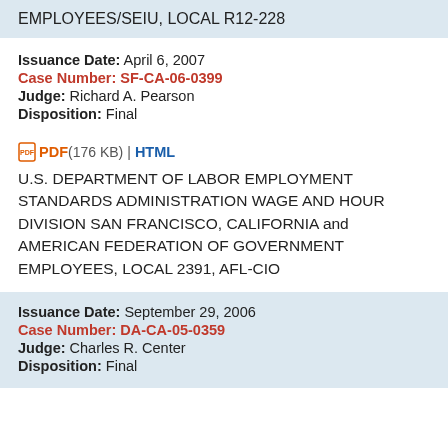EMPLOYEES/SEIU, LOCAL R12-228
Issuance Date: April 6, 2007
Case Number: SF-CA-06-0399
Judge: Richard A. Pearson
Disposition: Final
PDF (176 KB) | HTML
U.S. DEPARTMENT OF LABOR EMPLOYMENT STANDARDS ADMINISTRATION WAGE AND HOUR DIVISION SAN FRANCISCO, CALIFORNIA and AMERICAN FEDERATION OF GOVERNMENT EMPLOYEES, LOCAL 2391, AFL-CIO
Issuance Date: September 29, 2006
Case Number: DA-CA-05-0359
Judge: Charles R. Center
Disposition: Final